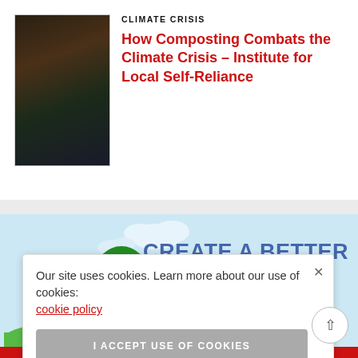CLIMATE CRISIS
How Composting Combats the Climate Crisis – Institute for Local Self-Reliance
[Figure (photo): Thumbnail image with dark brown and dark green tones, appears to be an outdoor scene]
[Figure (illustration): Illustrated banner showing people with trees, wind turbines, and solar panels on a green landscape with light blue sky background, with bold text 'CREATE A BETTER TOMORROW']
Our site uses cookies. Learn more about our use of cookies: cookie policy
I ACCEPT USE OF COOKIES